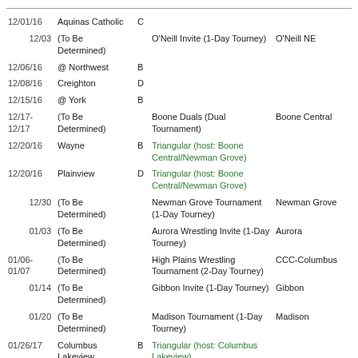| Date | Opponent | Lev | Event | Location |
| --- | --- | --- | --- | --- |
| 12/01/16 | Aquinas Catholic | C |  |  |
| 12/03 | (To Be Determined) |  | O'Neill Invite (1-Day Tourney) | O'Neill NE |
| 12/06/16 | @ Northwest | B |  |  |
| 12/08/16 | Creighton | D |  |  |
| 12/15/16 | @ York | B |  |  |
| 12/17-12/17 | (To Be Determined) |  | Boone Duals (Dual Tournament) | Boone Central |
| 12/20/16 | Wayne | B | Triangular (host: Boone Central/Newman Grove) |  |
| 12/20/16 | Plainview | D | Triangular (host: Boone Central/Newman Grove) |  |
| 12/30 | (To Be Determined) |  | Newman Grove Tournament (1-Day Tourney) | Newman Grove |
| 01/03 | (To Be Determined) |  | Aurora Wrestling Invite (1-Day Tourney) | Aurora |
| 01/06-01/07 | (To Be Determined) |  | High Plains Wrestling Tournament (2-Day Tourney) | CCC-Columbus |
| 01/14 | (To Be Determined) |  | Gibbon Invite (1-Day Tourney) | Gibbon |
| 01/20 | (To Be Determined) |  | Madison Tournament (1-Day Tourney) | Madison |
| 01/26/17 | Columbus Lakeview | B | Triangular (host: Columbus Lakeview) |  |
| 01/26/17 | Columbus | B | Triangular (host: Columbus |  |